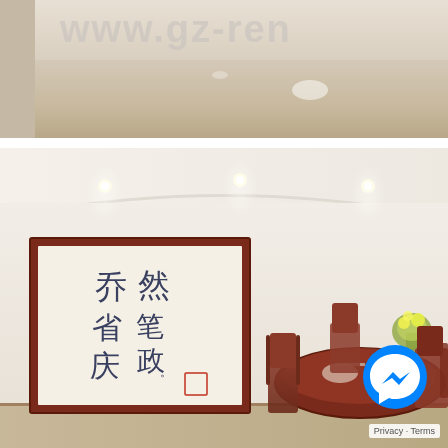[Figure (photo): Top photo showing a shiny marble floor interior with watermark text 'www.gz-ren...' visible in grey across the upper portion]
[Figure (photo): Interior dining room photo showing a white wall with a framed Chinese calligraphy artwork on the left, recessed ceiling lights, and a round wooden dining table with chairs and flower arrangement on the right. A Facebook Messenger button and 'Privacy · Terms' overlay appear in the bottom right corner.]